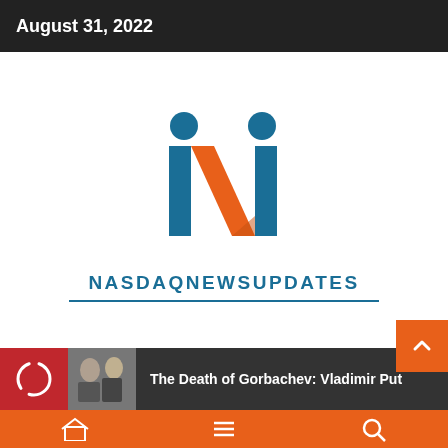August 31, 2022
[Figure (logo): NASDAQNEWSUPDATES logo: two stylized human figures forming the letter N with an orange diagonal slash, above the text NASDAQNEWSUPDATES in teal blue with an underline]
The Death of Gorbachev: Vladimir Put...
[Figure (photo): Thumbnail photo of Gorbachev and Putin]